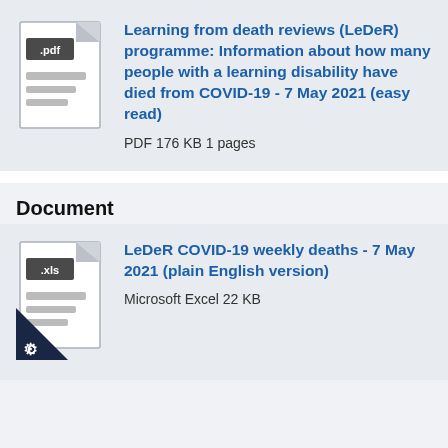[Figure (illustration): PDF file icon with .pdf label and document lines]
Learning from death reviews (LeDeR) programme: Information about how many people with a learning disability have died from COVID-19 - 7 May 2021 (easy read)
PDF 176 KB 1 pages
Document
[Figure (illustration): XLS file icon with .xls label and document lines, with copyright badge]
LeDeR COVID-19 weekly deaths - 7 May 2021 (plain English version)
Microsoft Excel 22 KB